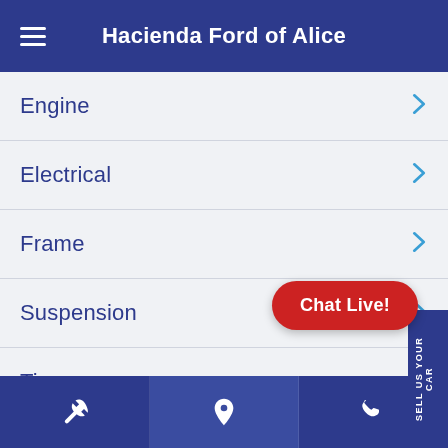Hacienda Ford of Alice
Engine
Electrical
Frame
Suspension
Tires
Wheels
Steering
Brakes
[Figure (screenshot): SELL US YOUR CAR vertical tab on the right side]
Chat Live!
Navigation footer with wrench, map pin, and phone icons